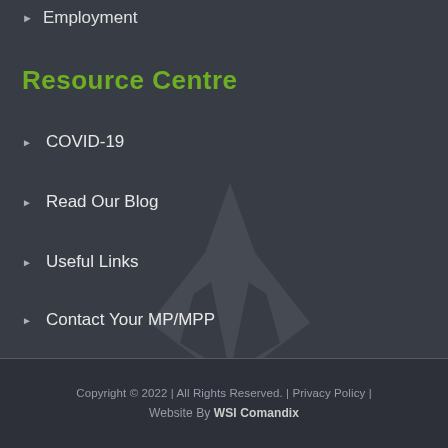Employment
Resource Centre
COVID-19
Read Our Blog
Useful Links
Contact Your MP/MPP
FAQ
[Figure (logo): Watermark logo of a stylized diamond/gem shape made of angular facets, shown in dark gray, semi-transparent in the background]
Copyright © 2022 | All Rights Reserved. | Privacy Policy | Website By WSI Comandix